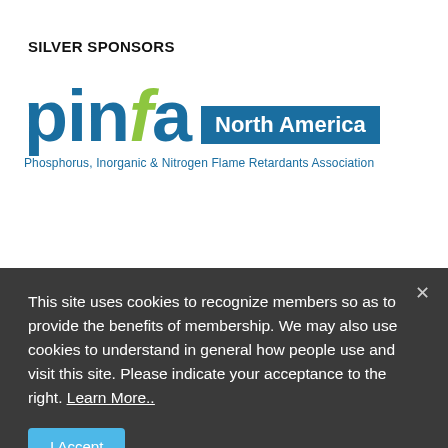SILVER SPONSORS
[Figure (logo): PINFA North America logo — 'pinfa' in large bold blue/green letters with 'North America' in a blue rectangle, and subtitle 'Phosphorus, Inorganic & Nitrogen Flame Retardants Association']
This educational program is provided as a service of SPE. The views and opinions
This site uses cookies to recognize members so as to provide the benefits of membership. We may also use cookies to understand in general how people use and visit this site. Please indicate your acceptance to the right. Learn More..
I Accept